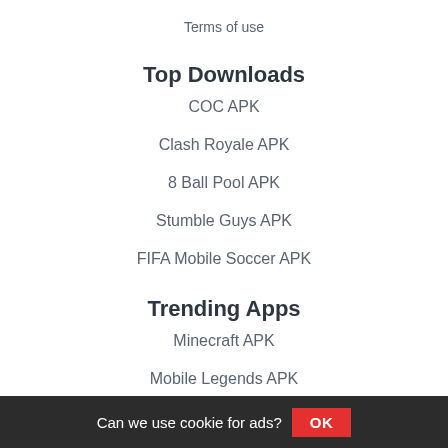Terms of use
Top Downloads
COC APK
Clash Royale APK
8 Ball Pool APK
Stumble Guys APK
FIFA Mobile Soccer APK
Trending Apps
Minecraft APK
Mobile Legends APK
Can we use cookie for ads? OK